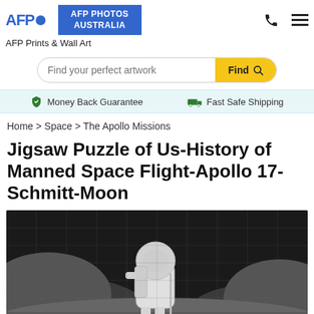[Figure (logo): AFP logo with blue text and dot, next to AFP Photos Australia blue button]
[Figure (screenshot): Phone icon and hamburger menu icon in header]
AFP Prints & Wall Art
[Figure (screenshot): Search bar with placeholder 'Find your perfect artwork' and yellow Find button with magnifier icon]
Money Back Guarantee   Fast Safe Shipping
Home > Space > The Apollo Missions
Jigsaw Puzzle of Us-History of Manned Space Flight-Apollo 17-Schmitt-Moon
[Figure (photo): Jigsaw puzzle image showing an astronaut in a spacesuit on the lunar surface with a pole/instrument, black and white photo, lunar hills in background, puzzle cut lines visible]